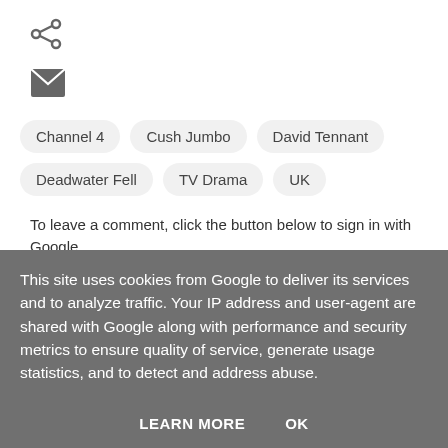[Figure (other): Share icon (less-than arrow style)]
[Figure (other): Mail/envelope icon]
Channel 4
Cush Jumbo
David Tennant
Deadwater Fell
TV Drama
UK
To leave a comment, click the button below to sign in with Google.
SIGN IN WITH GOOGLE
This site uses cookies from Google to deliver its services and to analyze traffic. Your IP address and user-agent are shared with Google along with performance and security metrics to ensure quality of service, generate usage statistics, and to detect and address abuse.
LEARN MORE   OK